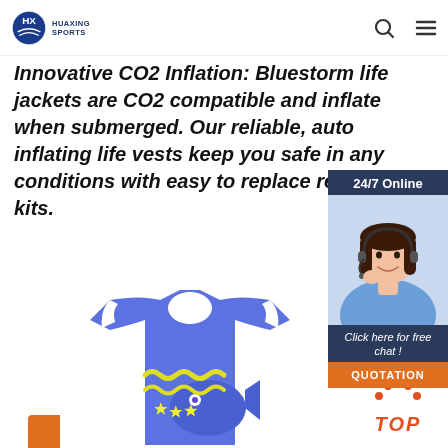HUAXING SPORTS
Innovative CO2 Inflation: Bluestorm life jackets are CO2 compatible and inflate when submerged. Our reliable, auto inflating life vests keep you safe in any conditions with easy to replace rearm kits.
Get Price
[Figure (screenshot): 24/7 Online chat widget with a photo of a customer service representative wearing a headset. Includes 'Click here for free chat!' text and a QUOTATION button.]
[Figure (photo): Blue children's swim vest/life jacket with yellow wavy lines and star fish decoration on a white background.]
[Figure (illustration): TOP back-to-top button icon with orange dots forming an upward arrow and bold orange italic TOP text.]